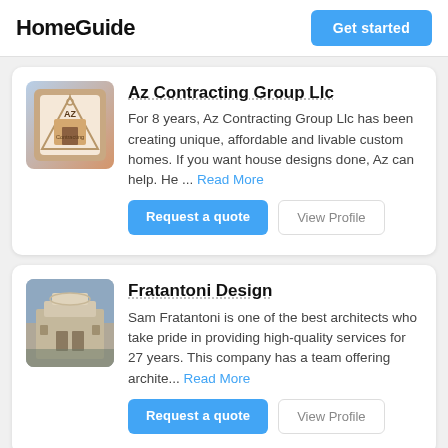HomeGuide
Get started
Az Contracting Group Llc
For 8 years, Az Contracting Group Llc has been creating unique, affordable and livable custom homes. If you want house designs done, Az can help. He ... Read More
Request a quote
View Profile
Fratantoni Design
Sam Fratantoni is one of the best architects who take pride in providing high-quality services for 27 years. This company has a team offering archite... Read More
Request a quote
View Profile